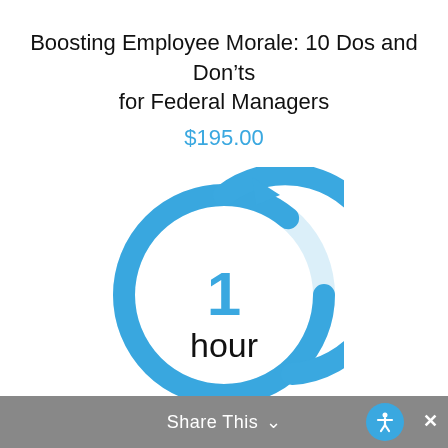Boosting Employee Morale: 10 Dos and Don’ts for Federal Managers
$195.00
[Figure (infographic): Circular blue refresh/clock icon with an arrow at the top right, containing the number '1' in blue and the word 'hour' in black below it, indicating 1 hour duration]
Share This